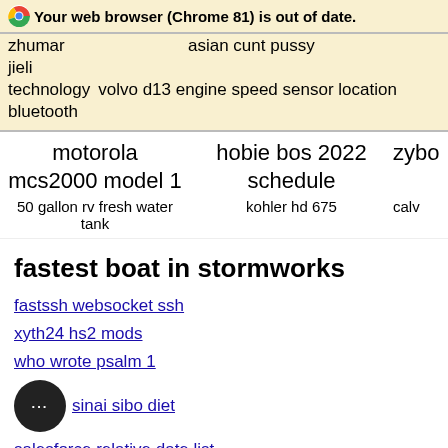Your web browser (Chrome 81) is out of date.
zhumar
jieli                    asian cunt pussy
technology volvo d13 engine speed sensor location bluetooth
motorola          hobie bos 2022          zybo
mcs2000 model 1   schedule
50 gallon rv fresh water tank   kohler hd 675   calv
fastest boat in stormworks
fastssh websocket ssh
xyth24 hs2 mods
who wrote psalm 1
ce...sinai sibo diet
salesforce relative date list
joe hisaishi concert 2023 europe